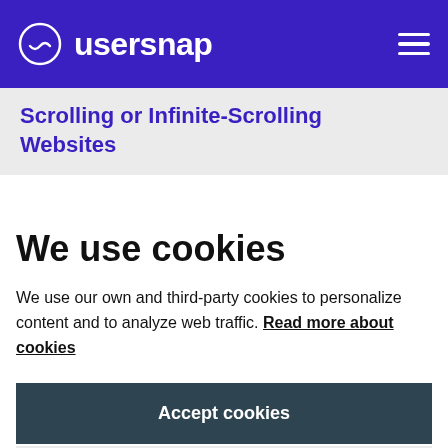usersnap
Scrolling or Infinite-Scrolling Websites
We use cookies
We use our own and third-party cookies to personalize content and to analyze web traffic. Read more about cookies